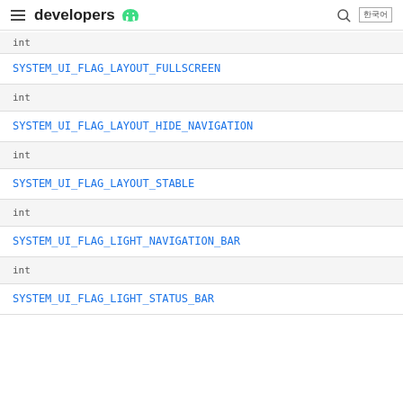developers [android logo]
| type | name |
| --- | --- |
| int | SYSTEM_UI_FLAG_LAYOUT_FULLSCREEN |
| int | SYSTEM_UI_FLAG_LAYOUT_HIDE_NAVIGATION |
| int | SYSTEM_UI_FLAG_LAYOUT_STABLE |
| int | SYSTEM_UI_FLAG_LIGHT_NAVIGATION_BAR |
| int | SYSTEM_UI_FLAG_LIGHT_STATUS_BAR |